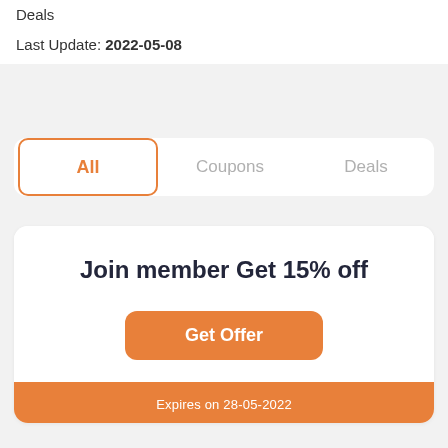Deals
Last Update: 2022-05-08
All | Coupons | Deals
Join member Get 15% off
Get Offer
Expires on 28-05-2022